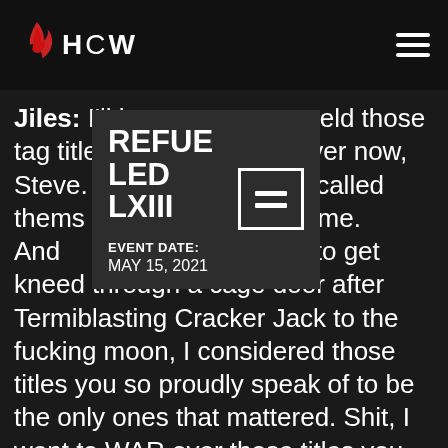HCW Logo and navigation header
Jiles: I'll hav...eld those tag titles you...nes over now, Steve. T...eople have called thems...hampion with me. And...rtunate enough to get kneed through a cage door after Termiblasting Cracker Jack to the fucking moon, I considered those titles you so proudly speak of to be the only ones that mattered. Shit, I went to WAR over those titles you speak of. To hear
[Figure (infographic): REFUELED LXIII overlay card with hamburger menu icon, EVENT DATE: MAY 15, 2021]